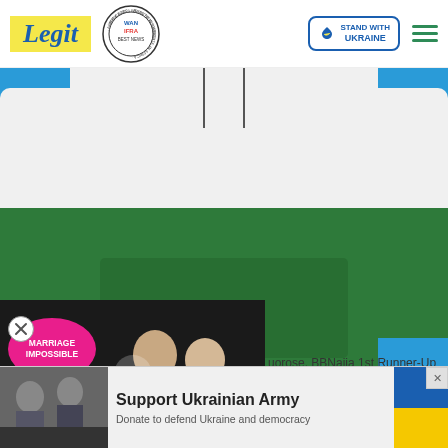[Figure (logo): Legit.ng logo with yellow background and blue italic bold text]
[Figure (logo): WAN-IFRA 2021 Best News Website in Africa circular badge]
[Figure (logo): Stand With Ukraine badge with heart icon and blue border]
[Figure (photo): Person wearing a white and green hoodie against a blue background, torso only visible]
[Figure (screenshot): Marriage Impossible video overlay with pink circular badge, play button, and two persons in background]
uorose, BBNaija 1st Runner-Up
[Figure (infographic): Support Ukrainian Army advertisement banner with soldiers photo and Ukrainian flag colors]
Support Ukrainian Army
Donate to defend Ukraine and democracy